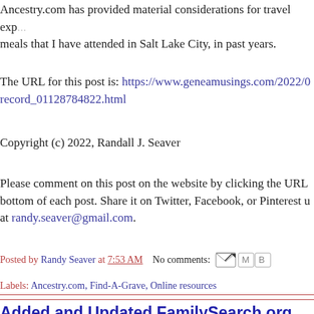Ancestry.com has provided material considerations for travel expenses and meals that I have attended in Salt Lake City, in past years.
The URL for this post is: https://www.geneamusings.com/2022/0record_01128784822.html
Copyright (c) 2022, Randall J. Seaver
Please comment on this post on the website by clicking the URL at the bottom of each post. Share it on Twitter, Facebook, or Pinterest u... at randy.seaver@gmail.com.
Posted by Randy Seaver at 7:53 AM   No comments:
Labels: Ancestry.com, Find-A-Grave, Online resources
Added and Updated FamilySearch.org Records March 2022